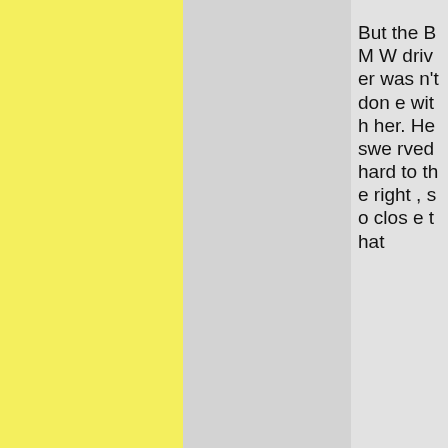But the BMW driver wasn't done with her. He swerved hard to the right, so close that